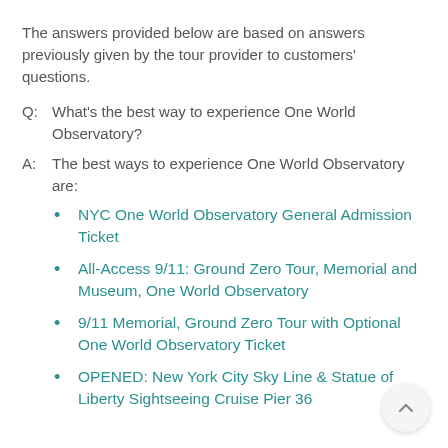The answers provided below are based on answers previously given by the tour provider to customers' questions.
Q:  What's the best way to experience One World Observatory?
A:  The best ways to experience One World Observatory are:
NYC One World Observatory General Admission Ticket
All-Access 9/11: Ground Zero Tour, Memorial and Museum, One World Observatory
9/11 Memorial, Ground Zero Tour with Optional One World Observatory Ticket
OPENED: New York City Sky Line & Statue of Liberty Sightseeing Cruise Pier 36